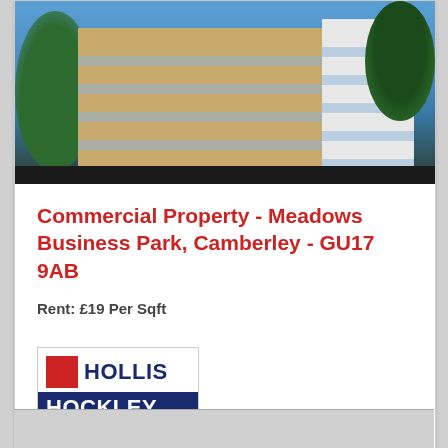[Figure (photo): Exterior photograph of a modern commercial office building at Meadows Business Park, Camberley. Multi-storey building with tan/beige cladding and glass windows, trees visible on sides, dark bar at bottom of image.]
Commercial Property - Meadows Business Park, Camberley - GU17 9AB
Rent: £19 Per Sqft
[Figure (logo): Hollis Hockley estate agent logo. Red square icon on left, HOLLIS text in dark navy, HOCKLEY in white on dark navy bar below, website www.hollishockley.com beneath.]